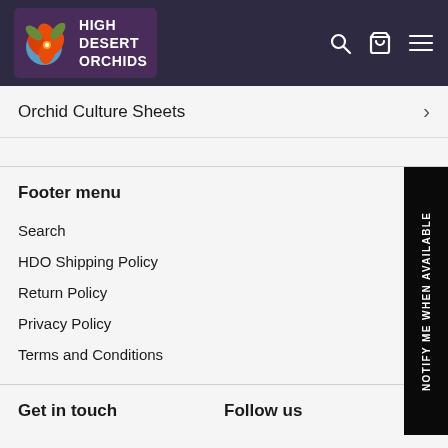High Desert Orchids
Orchid Culture Sheets
Footer menu
Search
HDO Shipping Policy
Return Policy
Privacy Policy
Terms and Conditions
NOTIFY ME WHEN AVAILABLE
Get in touch
Follow us